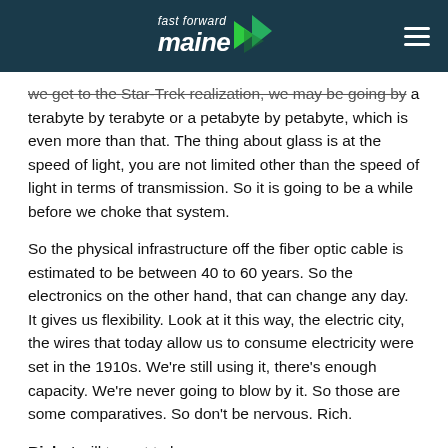fast forward maine
we get to the Star-Trek realization, we may be going by a terabyte by terabyte or a petabyte by petabyte, which is even more than that. The thing about glass is at the speed of light, you are not limited other than the speed of light in terms of transmission. So it is going to be a while before we choke that system.
So the physical infrastructure off the fiber optic cable is estimated to be between 40 to 60 years. So the electronics on the other hand, that can change any day. It gives us flexibility. Look at it this way, the electric city, the wires that today allow us to consume electricity were set in the 1910s. We're still using it, there's enough capacity. We're never going to blow by it. So those are some comparatives. So don't be nervous. Rich.
Rich: I will try not to be nervous.